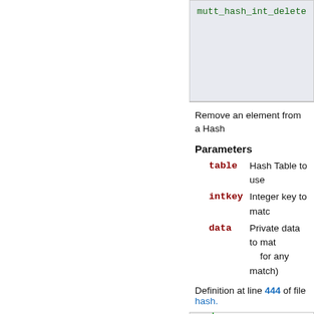[Figure (screenshot): Top portion of code box showing mutt_hash_int_delete function signature with parameters including 'un' and 'const', partially visible, clipped at top-right by a black triangle.]
Remove an element from a Hash
Parameters
table  Hash Table to use
intkey  Integer key to matc
data  Private data to mat for any match)
Definition at line 444 of file hash.
[Figure (screenshot): Code block showing lines 445-451 with C code for mutt_hash_int_delete function body including if (!table) return, union HashKey key, key.intkey = intke, union_hash_delete( data)]